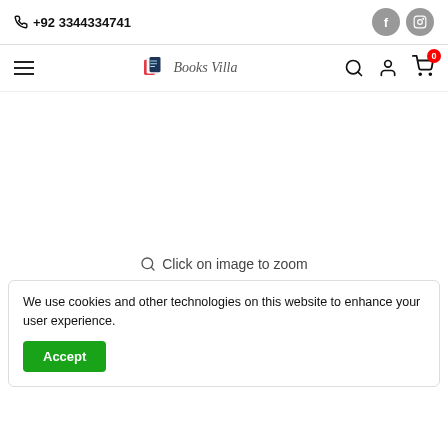+92 3344334741
[Figure (logo): Books Villa logo with shopping book icon and italic text 'Books Villa']
Click on image to zoom
We use cookies and other technologies on this website to enhance your user experience.
Accept